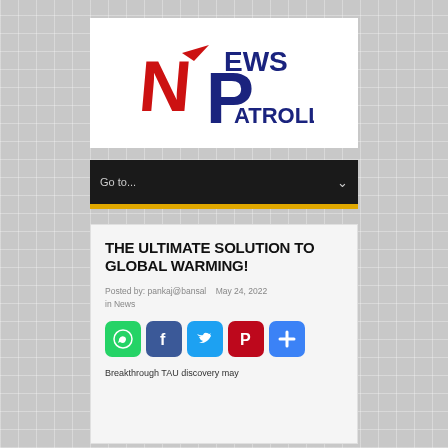[Figure (logo): News Patrolling logo with red N, blue P, and text NEWS PATROLLING]
Go to...
THE ULTIMATE SOLUTION TO GLOBAL WARMING!
Posted by: pankaj@bansal   May 24, 2022 in News
[Figure (infographic): Social sharing icons: WhatsApp, Facebook, Twitter, Pinterest, and a plus/share button]
Breakthrough TAU discovery may